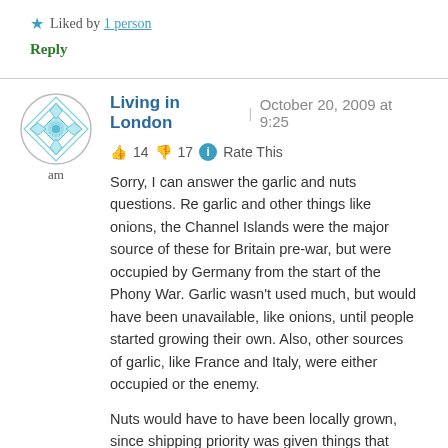★ Liked by 1 person
Reply
Living in London | October 20, 2009 at 9:25
👍 14 👎 17 ℹ Rate This
Sorry, I can answer the garlic and nuts questions. Re garlic and other things like onions, the Channel Islands were the major source of these for Britain pre-war, but were occupied by Germany from the start of the Phony War. Garlic wasn't used much, but would have been unavailable, like onions, until people started growing their own. Also, other sources of garlic, like France and Italy, were either occupied or the enemy.
Nuts would have to have been locally grown, since shipping priority was given things that were high in